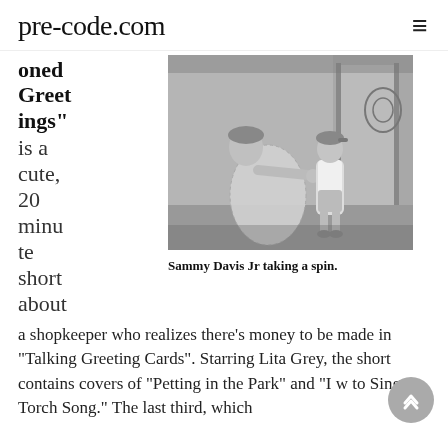pre-code.com
oned Greetings" is a cute, 20 minute short about a shopkeeper who realizes there's money to be made in "Talking Greeting Cards". Starring Lita Grey, the short contains covers of "Petting in the Park" and "I to Sing a Torch Song." The last third, which
[Figure (photo): Black and white photo of a person bending over toward a young boy, scene appears to be outdoors or at a storefront. Caption: Sammy Davis Jr taking a spin.]
Sammy Davis Jr taking a spin.